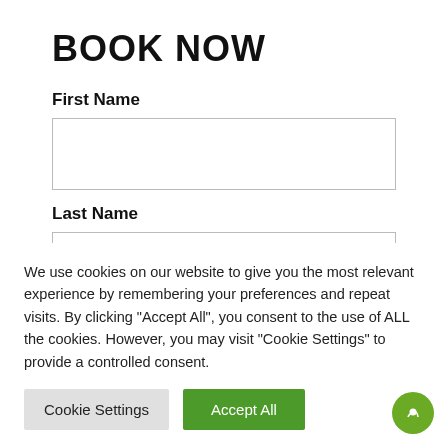BOOK NOW
First Name
Last Name
--
We use cookies on our website to give you the most relevant experience by remembering your preferences and repeat visits. By clicking “Accept All”, you consent to the use of ALL the cookies. However, you may visit "Cookie Settings" to provide a controlled consent.
Cookie Settings
Accept All